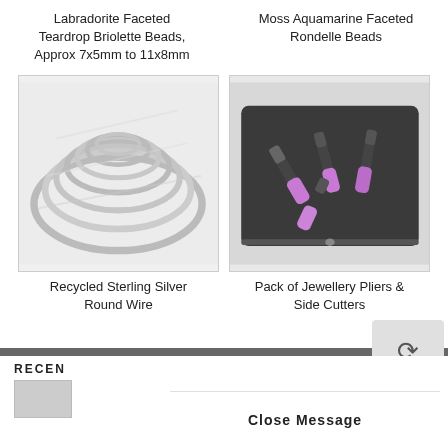Labradorite Faceted Teardrop Briolette Beads, Approx 7x5mm to 11x8mm
Moss Aquamarine Faceted Rondelle Beads
[Figure (photo): Coiled recycled sterling silver round wire, silver/white in color]
[Figure (photo): Pack of jewellery pliers and side cutters with purple handles in a dark zippered case]
Recycled Sterling Silver Round Wire
Pack of Jewellery Pliers & Side Cutters
This website uses cookies to improve your experience. Learn more
RECEN
Close Message